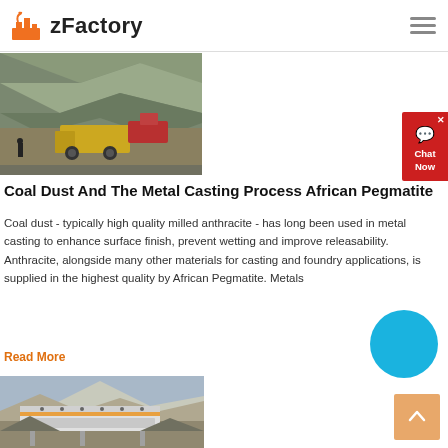zFactory
[Figure (photo): Mining site with heavy yellow machinery/truck working in rocky quarry terrain]
[Figure (other): Chat Now widget - red background with chat bubble icon]
Coal Dust And The Metal Casting Process African Pegmatite
Coal dust - typically high quality milled anthracite - has long been used in metal casting to enhance surface finish, prevent wetting and improve releasability. Anthracite, alongside many other materials for casting and foundry applications, is supplied in the highest quality by African Pegmatite. Metals
Read More
[Figure (photo): Mining conveyor/screening equipment at a quarry site with mountains in background]